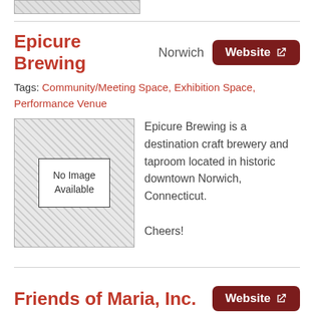[Figure (other): Partial image stub at top of page (hatched placeholder)]
Epicure Brewing  Norwich  Website
Tags: Community/Meeting Space, Exhibition Space, Performance Venue
[Figure (photo): No Image Available placeholder with hatched background]
Epicure Brewing is a destination craft brewery and taproom located in historic downtown Norwich, Connecticut.

Cheers!
Friends of Maria, Inc.  Website